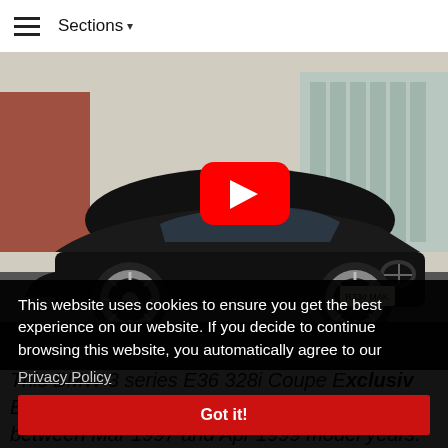☰  Sections ▾
[Figure (screenshot): BMW 3 Series black coupe parked in front of a building, with a YouTube play button overlay indicating an embedded video. License plate reads R334 MAK.]
This website uses cookies to ensure you get the best experience on our website. If you decide to continue browsing this website, you automatically agree to our
Privacy Policy
Got it!
This BMW 3 series E36 328i Coupe Exclusiv Edition model was produced in the engine between Mar 1997 and Apr 1999 model years.